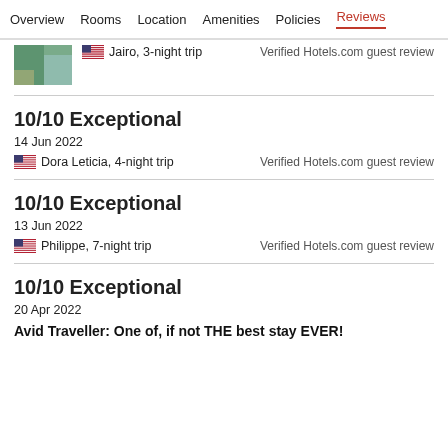Overview   Rooms   Location   Amenities   Policies   Reviews
[Figure (photo): Partial photo thumbnail of a room or pool area with teal/green tones]
Jairo, 3-night trip
Verified Hotels.com guest review
10/10 Exceptional
14 Jun 2022
Dora Leticia, 4-night trip
Verified Hotels.com guest review
10/10 Exceptional
13 Jun 2022
Philippe, 7-night trip
Verified Hotels.com guest review
10/10 Exceptional
20 Apr 2022
Avid Traveller: One of, if not THE best stay EVER!